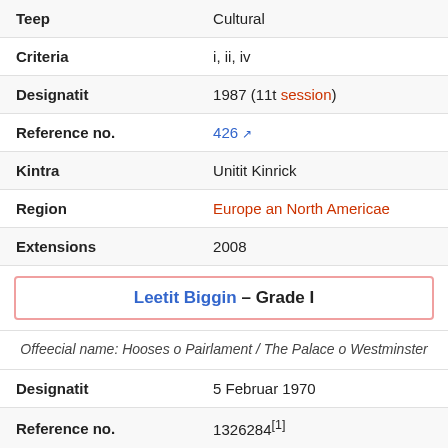| Field | Value |
| --- | --- |
| Teep | Cultural |
| Criteria | i, ii, iv |
| Designatit | 1987 (11t session) |
| Reference no. | 426 |
| Kintra | Unitit Kinrick |
| Region | Europe an North Americae |
| Extensions | 2008 |
Leetit Biggin – Grade I
Offeecial name: Hooses o Pairlament / The Palace o Westminster
| Field | Value |
| --- | --- |
| Designatit | 5 Februar 1970 |
| Reference no. | 1226284[1] |